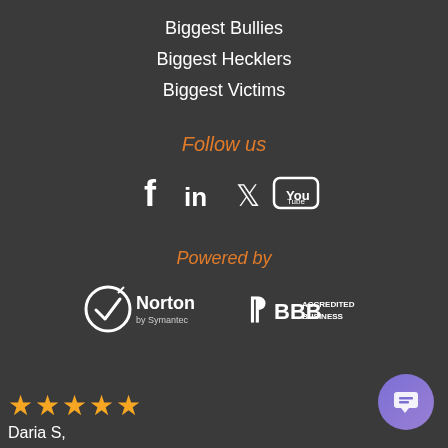Biggest Bullies
Biggest Hecklers
Biggest Victims
Follow us
[Figure (infographic): Social media icons: Facebook, LinkedIn, Twitter, YouTube]
Powered by
[Figure (logo): Norton by Symantec logo and BBB Accredited Business logo]
★★★★★
Daria S,